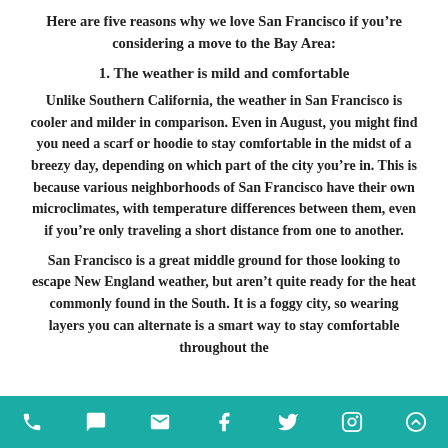Here are five reasons why we love San Francisco if you're considering a move to the Bay Area:
1. The weather is mild and comfortable
Unlike Southern California, the weather in San Francisco is cooler and milder in comparison. Even in August, you might find you need a scarf or hoodie to stay comfortable in the midst of a breezy day, depending on which part of the city you're in. This is because various neighborhoods of San Francisco have their own microclimates, with temperature differences between them, even if you're only traveling a short distance from one to another.
San Francisco is a great middle ground for those looking to escape New England weather, but aren't quite ready for the heat commonly found in the South. It is a foggy city, so wearing layers you can alternate is a smart way to stay comfortable throughout the
phone | chat | email | facebook | twitter | instagram | up